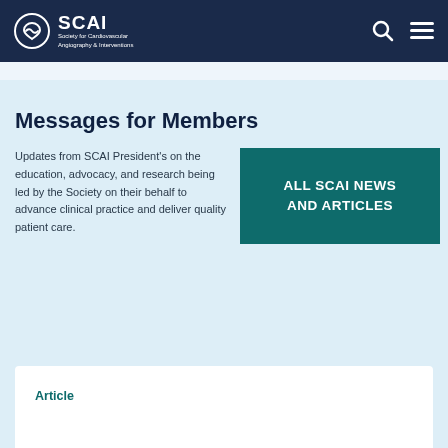SCAI Society for Cardiovascular Angiography & Interventions
Messages for Members
Updates from SCAI President's on the education, advocacy, and research being led by the Society on their behalf to advance clinical practice and deliver quality patient care.
ALL SCAI NEWS AND ARTICLES
Article